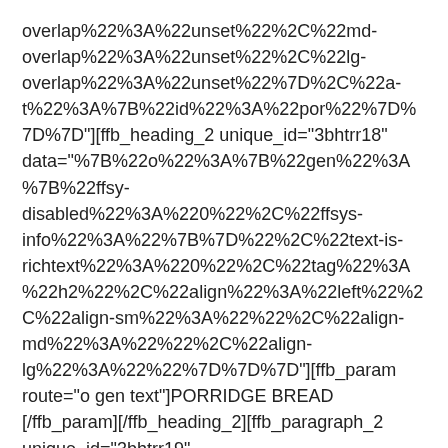overlap%22%3A%22unset%22%2C%22md-overlap%22%3A%22unset%22%2C%22lg-overlap%22%3A%22unset%22%7D%2C%22a-t%22%3A%7B%22id%22%3A%22por%22%7D%7D%7D"][ffb_heading_2 unique_id="3bhtrr18" data="%7B%22o%22%3A%7B%22gen%22%3A%7B%22ffsy-disabled%22%3A%220%22%2C%22ffsys-info%22%3A%22%7B%7D%22%2C%22text-is-richtext%22%3A%220%22%2C%22tag%22%3A%22h2%22%2C%22align%22%3A%22left%22%2C%22align-sm%22%3A%22%22%2C%22align-md%22%3A%22%22%2C%22align-lg%22%3A%22%22%7D%7D%7D"][ffb_param route="o gen text"]PORRIDGE BREAD[/ffb_param][/ffb_heading_2][ffb_paragraph_2 unique_id="3bhtrr19" data="%7B%22o%22%3A%7B%22gen%22%3A%7B%22ffsy-disabled%22%3A%220%22%2C%22ffsys-info%22%3A%22%7B%7D%22%2C%22text-is-richtext%22%3A%221%22%2C%22align%22%3A%22text-